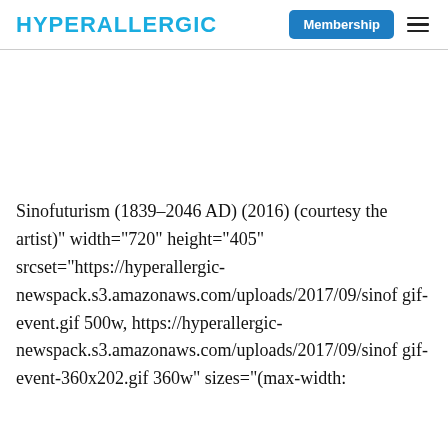HYPERALLERGIC
Sinofuturism (1839–2046 AD) (2016) (courtesy the artist)" width="720" height="405" srcset="https://hyperallergic-newspack.s3.amazonaws.com/uploads/2017/09/sinof gif-event.gif 500w, https://hyperallergic-newspack.s3.amazonaws.com/uploads/2017/09/sinof gif-event-360x202.gif 360w" sizes="(max-width: